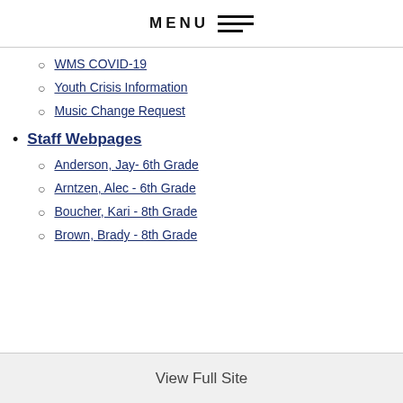MENU
WMS COVID-19
Youth Crisis Information
Music Change Request
Staff Webpages
Anderson, Jay- 6th Grade
Arntzen, Alec - 6th Grade
Boucher, Kari - 8th Grade
Brown, Brady - 8th Grade
View Full Site